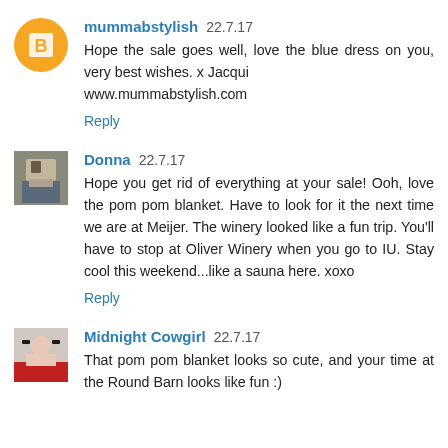mummabstylish 22.7.17
Hope the sale goes well, love the blue dress on you, very best wishes. x Jacqui
www.mummabstylish.com
Reply
Donna 22.7.17
Hope you get rid of everything at your sale! Ooh, love the pom pom blanket. Have to look for it the next time we are at Meijer. The winery looked like a fun trip. You'll have to stop at Oliver Winery when you go to IU. Stay cool this weekend...like a sauna here. xoxo
Reply
Midnight Cowgirl 22.7.17
That pom pom blanket looks so cute, and your time at the Round Barn looks like fun :)